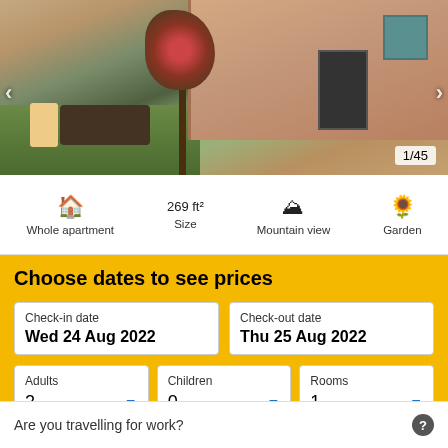[Figure (photo): Exterior photo of a house/apartment with garden, roses, outdoor seating, mountain view in background. Counter shows 1/45.]
Whole apartment
269 ft²
Mountain view
Garden
Choose dates to see prices
Check-in date
Wed 24 Aug 2022
Check-out date
Thu 25 Aug 2022
Adults
2
Children
0
Rooms
1
Are you travelling for work?